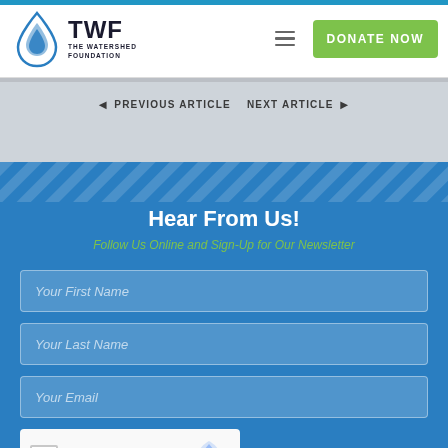[Figure (logo): TWF The Watershed Foundation logo with water droplet icon]
DONATE NOW
◄ PREVIOUS ARTICLE    NEXT ARTICLE ►
Hear From Us!
Follow Us Online and Sign-Up for Our Newsletter
Your First Name
Your Last Name
Your Email
[Figure (screenshot): reCAPTCHA widget with checkbox labeled I'm not a robot and reCAPTCHA logo, partially showing reCAPTCHA text at bottom]